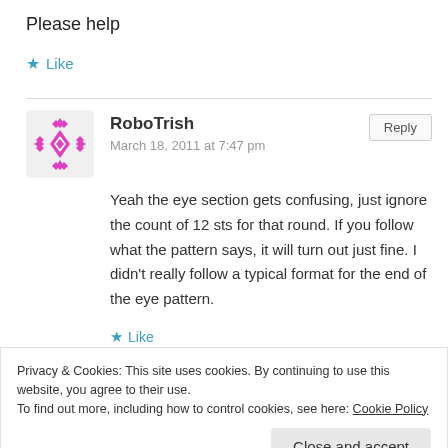Please help
★ Like
RoboTrish
March 18, 2011 at 7:47 pm
Yeah the eye section gets confusing, just ignore the count of 12 sts for that round. If you follow what the pattern says, it will turn out just fine. I didn't really follow a typical format for the end of the eye pattern.
★ Like
Privacy & Cookies: This site uses cookies. By continuing to use this website, you agree to their use.
To find out more, including how to control cookies, see here: Cookie Policy
Close and accept
Thank you So much! I just made my sister this for her birthday!